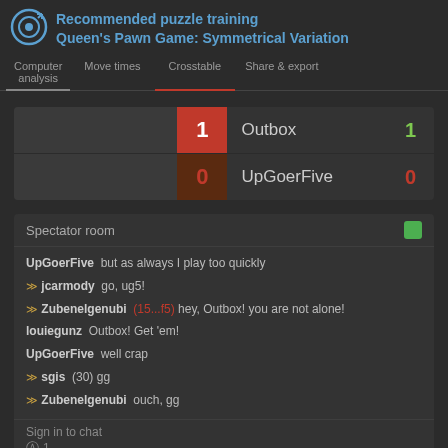Recommended puzzle training
Queen's Pawn Game: Symmetrical Variation
Computer analysis | Move times | Crosstable | Share & export
|  | Player | Score |
| --- | --- | --- |
| 1 | Outbox | 1 |
| 0 | UpGoerFive | 0 |
Spectator room
UpGoerFive  but as always I play too quickly
jcarmody  go, ug5!
Zubenelgenubi  (15...f5) hey, Outbox! you are not alone!
louiegunz  Outbox! Get 'em!
UpGoerFive  well crap
sgis  (30) gg
Zubenelgenubi  ouch, gg
Sign in to chat
1